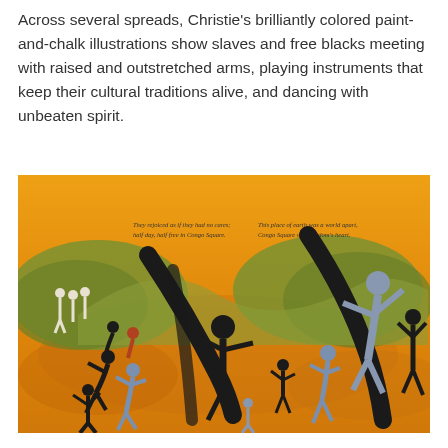Across several spreads, Christie's brilliantly colored paint-and-chalk illustrations show slaves and free blacks meeting with raised and outstretched arms, playing instruments that keep their cultural traditions alive, and dancing with unbeaten spirit.
[Figure (illustration): A vibrant orange and yellow toned illustration showing figures dancing with raised arms and outstretched poses in Congo Square, with text reading 'They rejoiced as if they had no cares; half day, half free in Congo Square.' and 'This place of earth was a world apart, Congo Square was freedom's heart.' Green mountains in the background, figures in blue, grey and black silhouettes dancing expressively.]